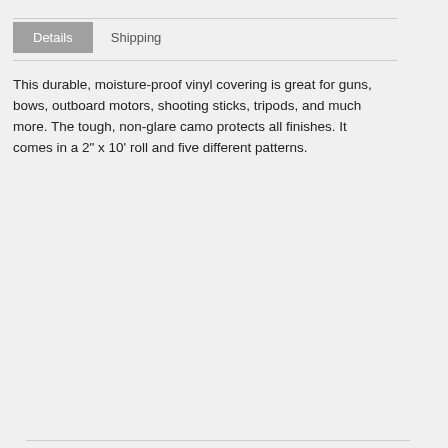Details	Shipping
This durable, moisture-proof vinyl covering is great for guns, bows, outboard motors, shooting sticks, tripods, and much more. The tough, non-glare camo protects all finishes. It comes in a 2" x 10' roll and five different patterns.
|  |  |
| --- | --- |
| Type | Tape |
| Color | Realtree Max-5 |
| Mount | Adhesive |
| Series | Gun and Bow |
| Battery | N/A |
| Function | Camouflage |
| Material | Vinyl |